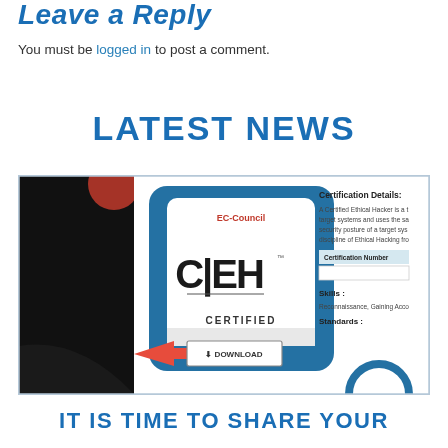Leave a Reply
You must be logged in to post a comment.
LATEST NEWS
[Figure (screenshot): Screenshot of an EC-Council CEH (Certified Ethical Hacker) certification page showing a blue badge with CEH logo, a DOWNLOAD button with red arrow, and Certification Details panel with Certification Number and Skills fields.]
IT IS TIME TO SHARE YOUR